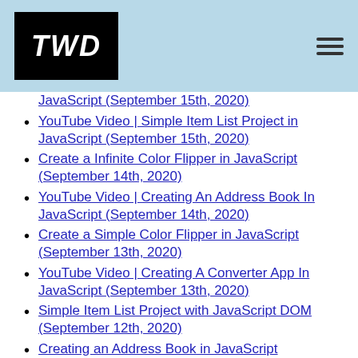TWD
JavaScript (September 15th, 2020)
YouTube Video | Simple Item List Project in JavaScript (September 15th, 2020)
Create a Infinite Color Flipper in JavaScript (September 14th, 2020)
YouTube Video | Creating An Address Book In JavaScript (September 14th, 2020)
Create a Simple Color Flipper in JavaScript (September 13th, 2020)
YouTube Video | Creating A Converter App In JavaScript (September 13th, 2020)
Simple Item List Project with JavaScript DOM (September 12th, 2020)
Creating an Address Book in JavaScript (September 11th, 2020)